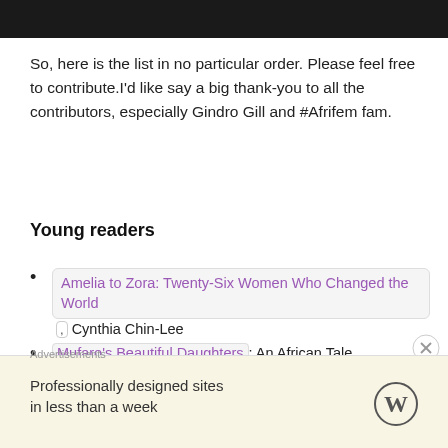[Figure (photo): Dark photo strip at top of page, partially cropped]
So, here is the list in no particular order. Please feel free to contribute.I'd like say a big thank-you to all the contributors, especially Gindro Gill and #Afrifem fam.
Young readers
Amelia to Zora: Twenty-Six Women Who Changed the World, Cynthia Chin-Lee
Mufaro's Beautiful Daughters: An African Tale, John Steptoe
Amazing Grace, Mary Hoffman
I Can Do it Too, Karen Baicker
Advertisements
Professionally designed sites in less than a week